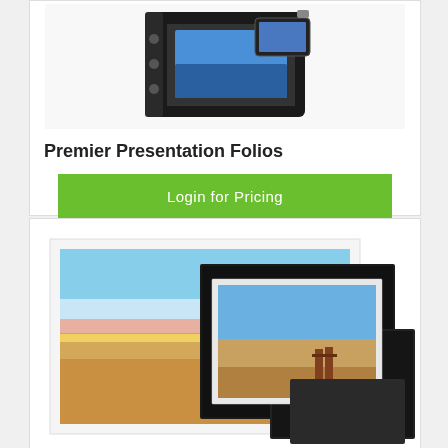[Figure (photo): Photo of Premier Presentation Folios product — black leather-style portfolio/binder with photos visible]
Premier Presentation Folios
Login for Pricing
[Figure (photo): Photo showing multiple black presentation matte/folio sleeves of different sizes arranged over a landscape photograph print]